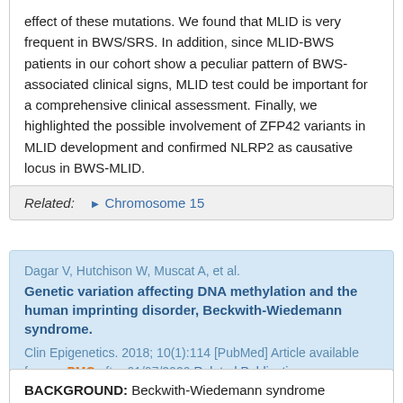effect of these mutations. We found that MLID is very frequent in BWS/SRS. In addition, since MLID-BWS patients in our cohort show a peculiar pattern of BWS-associated clinical signs, MLID test could be important for a comprehensive clinical assessment. Finally, we highlighted the possible involvement of ZFP42 variants in MLID development and confirmed NLRP2 as causative locus in BWS-MLID.
Related: ▶ Chromosome 15
Dagar V, Hutchison W, Muscat A, et al. Genetic variation affecting DNA methylation and the human imprinting disorder, Beckwith-Wiedemann syndrome. Clin Epigenetics. 2018; 10(1):114 [PubMed] Article available free on PMC after 01/07/2020 Related Publications
BACKGROUND: Beckwith-Wiedemann syndrome